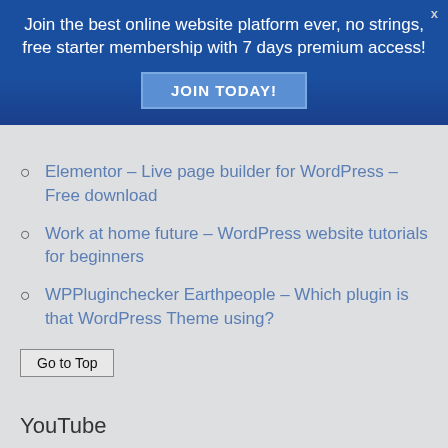[Figure (infographic): Blue promotional banner with text 'Join the best online website platform ever, no strings, free starter membership with 7 days premium access!' and a 'JOIN TODAY!' button. An 'x' close button appears in the top right corner.]
Elementor – Live page builder for WordPress – Free download
Work at home future – WordPress website tutorials for beginners
WPPluginchecker Earthpeople – Which plugin is that WordPress Theme using?
Go to Top
YouTube
Tube Buddy – Run your channel with ease